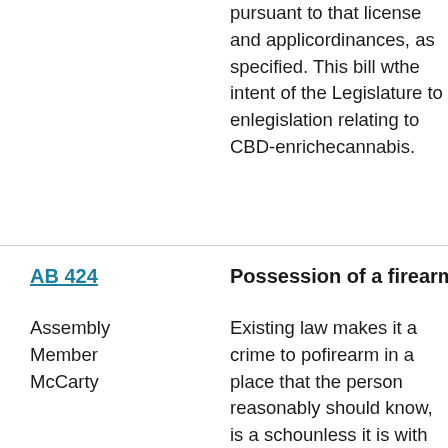pursuant to that license and applicable ordinances, as specified. This bill would declare the intent of the Legislature to enact legislation relating to CBD-enriched cannabis.
AB 424
Possession of a firearm in a school zone
Assembly Member McCarty
Existing law makes it a crime to possess a firearm in a place that the person knows, or reasonably should know, is a school zone, unless it is with the written permission of the school district superintendent, his or her designee, or equivalent school authority. This bill would delete the authority of the school district superintendent, his or her designee, or equivalent school authority